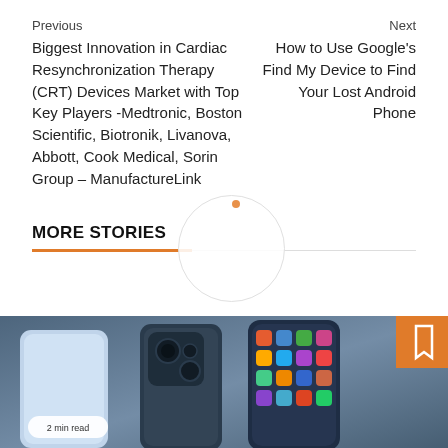Previous
Biggest Innovation in Cardiac Resynchronization Therapy (CRT) Devices Market with Top Key Players -Medtronic, Boston Scientific, Biotronik, Livanova, Abbott, Cook Medical, Sorin Group – ManufactureLink
Next
How to Use Google's Find My Device to Find Your Lost Android Phone
MORE STORIES
[Figure (photo): Smartphones on a dark surface showing app icons and camera module, with a '2 min read' badge and an orange bookmark icon in the top right corner.]